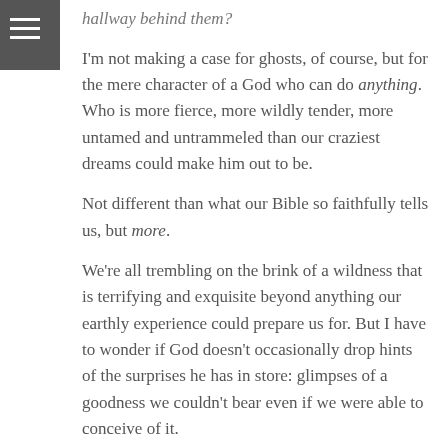hallway behind them?
I'm not making a case for ghosts, of course, but for the mere character of a God who can do anything. Who is more fierce, more wildly tender, more untamed and untrammeled than our craziest dreams could make him out to be.
Not different than what our Bible so faithfully tells us, but more.
We're all trembling on the brink of a wildness that is terrifying and exquisite beyond anything our earthly experience could prepare us for. But I have to wonder if God doesn't occasionally drop hints of the surprises he has in store: glimpses of a goodness we couldn't bear even if we were able to conceive of it.
A few years ago I had the inexpressible privilege of